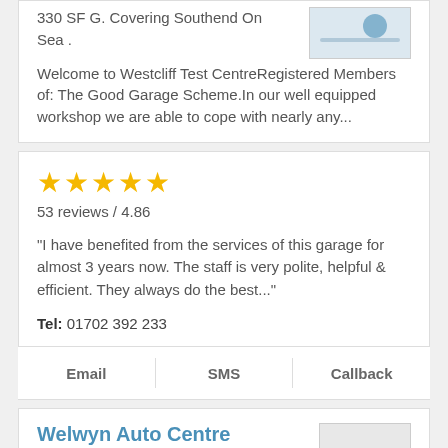330 SF G. Covering Southend On Sea .
Welcome to Westcliff Test CentreRegistered Members of: The Good Garage Scheme.In our well equipped workshop we are able to cope with nearly any...
[Figure (other): Partial logo or image in top-right corner]
★★★★★
53 reviews / 4.86
"I have benefited from the services of this garage for almost 3 years now. The staff is very polite, helpful & efficient. They always do the best..."
Tel: 01702 392 233
Email   SMS   Callback
Welwyn Auto Centre